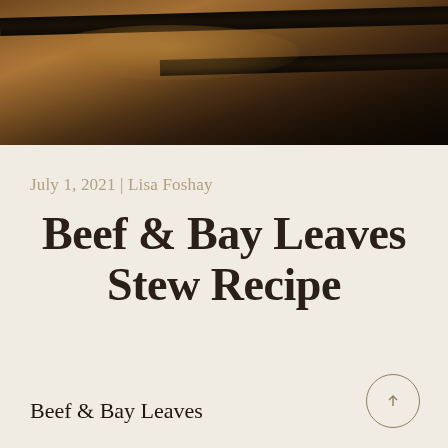[Figure (photo): Close-up photo of a wooden barrel with dark iron bands, warm brown tones with dark shadows]
July 1, 2021 | Lisa Foshay
Beef & Bay Leaves Stew Recipe
Beef & Bay Leaves